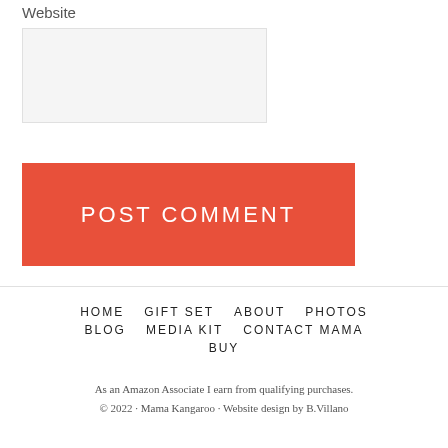Website
[Figure (other): Website input text field (empty, light gray background)]
POST COMMENT
HOME
GIFT SET
ABOUT
PHOTOS
BLOG
MEDIA KIT
CONTACT MAMA
BUY
As an Amazon Associate I earn from qualifying purchases.
© 2022 · Mama Kangaroo · Website design by B.Villano